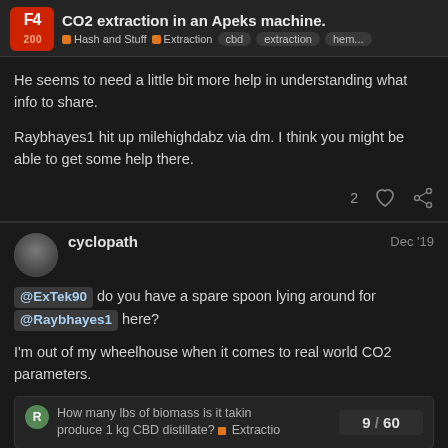CO2 extraction in an Apeks machine. | Hash and Stuff | Extraction | cbd | extraction | hem...
He seems to need a little bit more help in understanding what info to share.

Raybhayes1 hit up milehighdabz via dm. I think you might be able to get some help there.
cyclopath  Dec '19
@ExTek90 do you have a spare spoon lying around for @Raybhayes1 here?

I'm out of my wheelhouse when it comes to real world CO2 parameters.
How many lbs of biomass is it takin produce 1 kg CBD distillate? Extractio   9 / 60